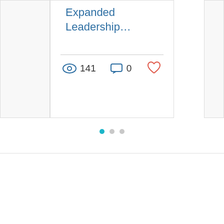Expanded Leadership...
141 views · 0 comments · like